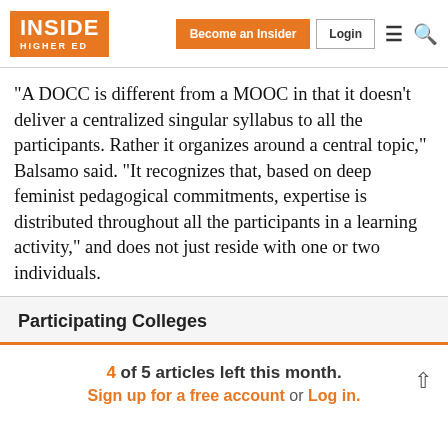INSIDE HIGHER ED | Become an Insider | Login
"A DOCC is different from a MOOC in that it doesn't deliver a centralized singular syllabus to all the participants. Rather it organizes around a central topic," Balsamo said. "It recognizes that, based on deep feminist pedagogical commitments, expertise is distributed throughout all the participants in a learning activity," and does not just reside with one or two individuals.
Participating Colleges
4 of 5 articles left this month.
Sign up for a free account or Log in.